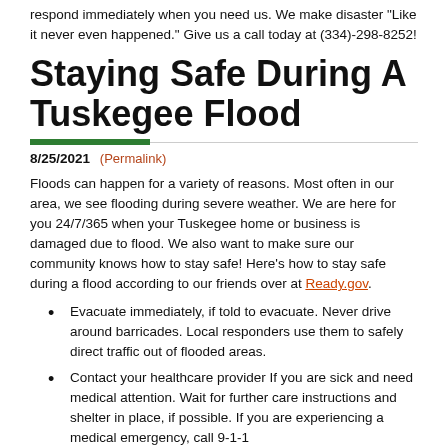respond immediately when you need us. We make disaster "Like it never even happened." Give us a call today at (334)-298-8252!
Staying Safe During A Tuskegee Flood
8/25/2021 (Permalink)
Floods can happen for a variety of reasons. Most often in our area, we see flooding during severe weather. We are here for you 24/7/365 when your Tuskegee home or business is damaged due to flood. We also want to make sure our community knows how to stay safe! Here's how to stay safe during a flood according to our friends over at Ready.gov.
Evacuate immediately, if told to evacuate. Never drive around barricades. Local responders use them to safely direct traffic out of flooded areas.
Contact your healthcare provider If you are sick and need medical attention. Wait for further care instructions and shelter in place, if possible. If you are experiencing a medical emergency, call 9-1-1